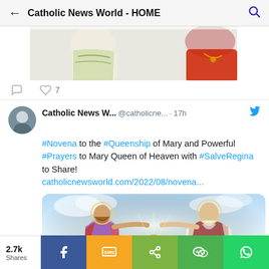Catholic News World - HOME
[Figure (photo): Partial view of a photo showing religious figures, one in white vestments and one in red cardinal robes]
comment icon  ♡ 7
Catholic News W...  @catholicne...  · 17h
#Novena to the #Queenship of Mary and Powerful #Prayers to Mary Queen of Heaven with #SalveRegina to Share! catholicnewsworld.com/2022/08/novena...
[Figure (illustration): Religious painting showing the coronation of Mary Queen of Heaven, with Jesus and God the Father placing a crown on Mary's head]
2.7k Shares
Facebook share, SMS, Generic share, WeChat, WhatsApp share buttons